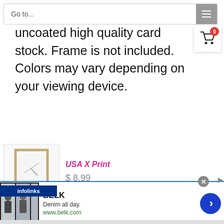Go to...
uncoated high quality card stock. Frame is not included. Colors may vary depending on your viewing device.
USA X Print
$ 8.99
[Figure (screenshot): Belk advertisement banner showing denim clothing with tagline 'Denim all day.' and URL www.belk.com]